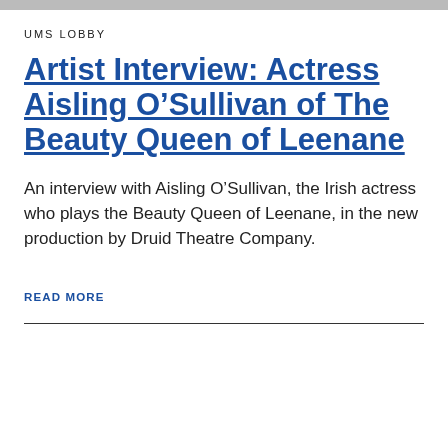[Figure (photo): Partial top image bar cropped at top of page]
UMS LOBBY
Artist Interview: Actress Aisling O'Sullivan of The Beauty Queen of Leenane
An interview with Aisling O'Sullivan, the Irish actress who plays the Beauty Queen of Leenane, in the new production by Druid Theatre Company.
READ MORE